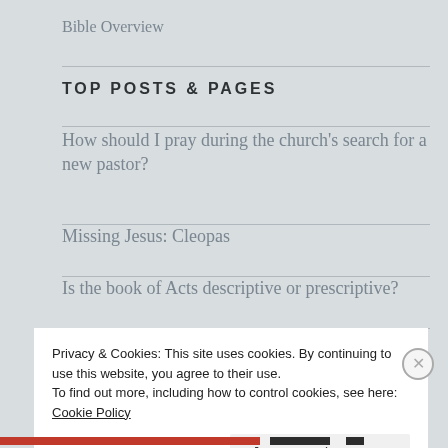Bible Overview
TOP POSTS & PAGES
How should I pray during the church's search for a new pastor?
Missing Jesus: Cleopas
Is the book of Acts descriptive or prescriptive?
Privacy & Cookies: This site uses cookies. By continuing to use this website, you agree to their use.
To find out more, including how to control cookies, see here: Cookie Policy
Close and accept